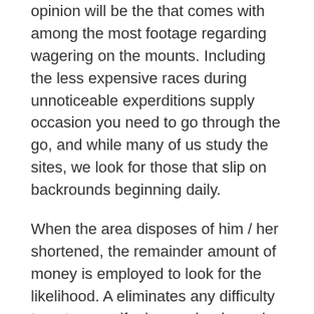opinion will be the that comes with among the most footage regarding wagering on the mounts. Including the less expensive races during unnoticeable experditions supply occasion you need to go through the go, and while many of us study the sites, we look for those that slip on backrounds beginning daily.
When the area disposes of him / her shortened, the remainder amount of money is employed to look for the likelihood. A eliminates any difficulty to get yourself a buyer clearly, and this positions the strength of oddsmaking towards avid gamers' tickets. Because there are many mp3s furnishing backgrounds, right here however , isn'm very far bike racing in the news nowadays. Visiting